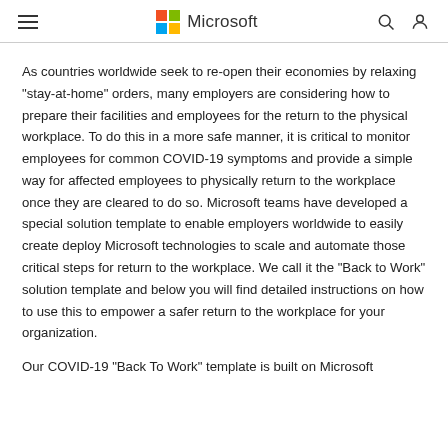Microsoft
As countries worldwide seek to re-open their economies by relaxing "stay-at-home" orders, many employers are considering how to prepare their facilities and employees for the return to the physical workplace. To do this in a more safe manner, it is critical to monitor employees for common COVID-19 symptoms and provide a simple way for affected employees to physically return to the workplace once they are cleared to do so. Microsoft teams have developed a special solution template to enable employers worldwide to easily create deploy Microsoft technologies to scale and automate those critical steps for return to the workplace. We call it the "Back to Work" solution template and below you will find detailed instructions on how to use this to empower a safer return to the workplace for your organization.
Our COVID-19 "Back To Work" template is built on Microsoft